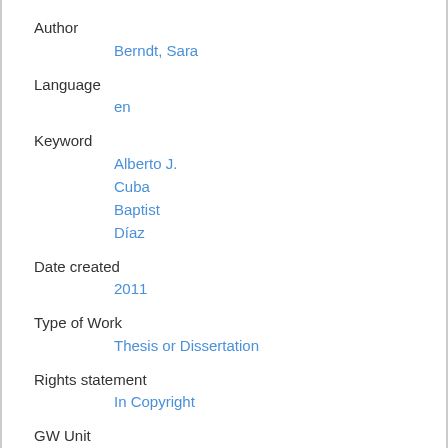Author
Berndt, Sara
Language
en
Keyword
Alberto J.
Cuba
Baptist
Díaz
Date created
2011
Type of Work
Thesis or Dissertation
Rights statement
In Copyright
GW Unit
History
Degree